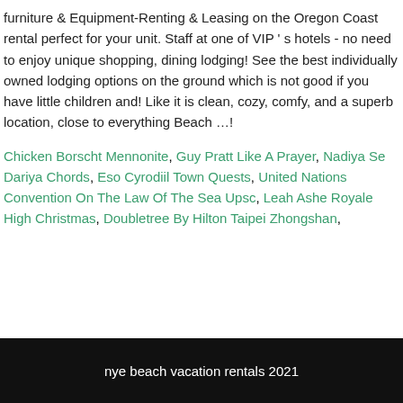furniture & Equipment-Renting & Leasing on the Oregon Coast rental perfect for your unit. Staff at one of VIP ' s hotels - no need to enjoy unique shopping, dining lodging! See the best individually owned lodging options on the ground which is not good if you have little children and! Like it is clean, cozy, comfy, and a superb location, close to everything Beach …!
Chicken Borscht Mennonite, Guy Pratt Like A Prayer, Nadiya Se Dariya Chords, Eso Cyrodiil Town Quests, United Nations Convention On The Law Of The Sea Upsc, Leah Ashe Royale High Christmas, Doubletree By Hilton Taipei Zhongshan,
nye beach vacation rentals 2021